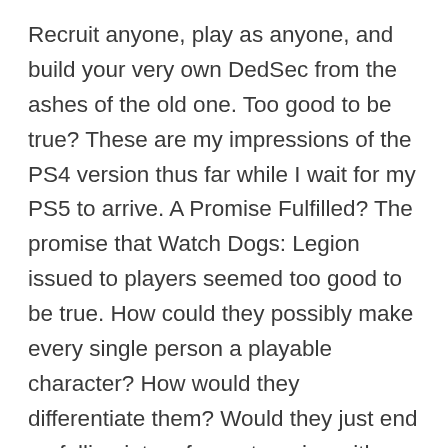Recruit anyone, play as anyone, and build your very own DedSec from the ashes of the old one. Too good to be true? These are my impressions of the PS4 version thus far while I wait for my PS5 to arrive. A Promise Fulfilled? The promise that Watch Dogs: Legion issued to players seemed too good to be true. How could they possibly make every single person a playable character? How would they differentiate them? Would they just end up falling into a few categories with no real differentiation? Having played several hours of Watch Dogs: Legion on PS4 while I wait for the PS5 version, I can say that they've managed to (mostly) come through on this promise. The ability to recruit anyone you'd like is there, with some challenges for characters who